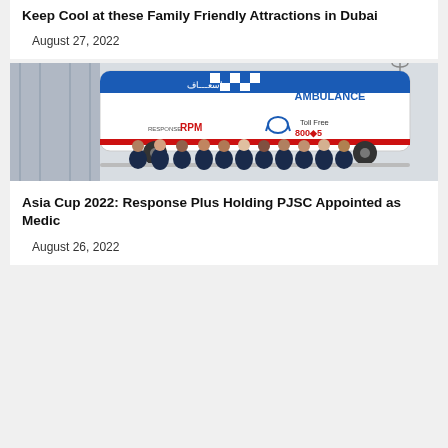Keep Cool at these Family Friendly Attractions in Dubai
August 27, 2022
[Figure (photo): Group of medical staff in navy uniforms standing in front of a white and blue ambulance with Arabic text and 'AMBULANCE' written on it. Response Plus Holding PJSC branding visible.]
Asia Cup 2022: Response Plus Holding PJSC Appointed as Medic
August 26, 2022